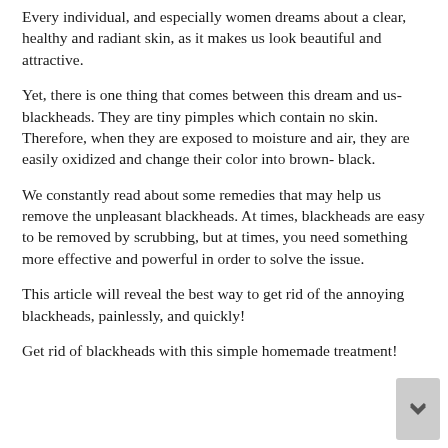Every individual, and especially women dreams about a clear, healthy and radiant skin, as it makes us look beautiful and attractive.
Yet, there is one thing that comes between this dream and us- blackheads. They are tiny pimples which contain no skin. Therefore, when they are exposed to moisture and air, they are easily oxidized and change their color into brown- black.
We constantly read about some remedies that may help us remove the unpleasant blackheads. At times, blackheads are easy to be removed by scrubbing, but at times, you need something more effective and powerful in order to solve the issue.
This article will reveal the best way to get rid of the annoying blackheads, painlessly, and quickly!
Get rid of blackheads with this simple homemade treatment!